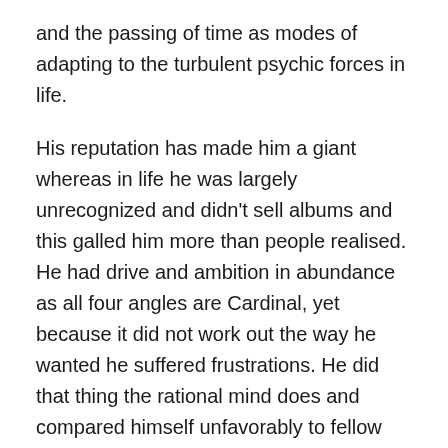and the passing of time as modes of adapting to the turbulent psychic forces in life.

His reputation has made him a giant whereas in life he was largely unrecognized and didn't sell albums and this galled him more than people realised. He had drive and ambition in abundance as all four angles are Cardinal, yet because it did not work out the way he wanted he suffered frustrations. He did that thing the rational mind does and compared himself unfavorably to fellow artist John Martyn on the same label- Island Records. Perhaps because he knew his worth, but the public was not ready for Drake's elegant sadness. It took three decades more for that to happen. So there is a reverse proportion dynamic here. Fame in life can be high but snuffs out immediately after death; fame in life can be